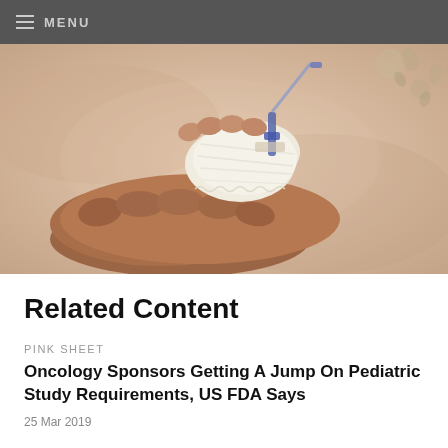MENU
[Figure (photo): Close-up photo of an adult hand holding a small child's hand with an IV drip/cannula secured by bandage wrapping, resting on a pale blanket in a medical setting]
Related Content
PINK SHEET
Oncology Sponsors Getting A Jump On Pediatric Study Requirements, US FDA Says
25 Mar 2019